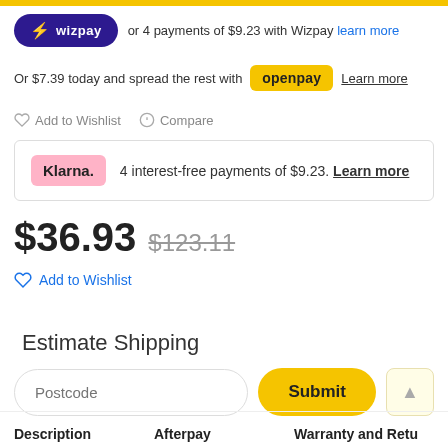[Figure (logo): Wizpay logo — dark purple rounded pill badge with lightning bolt star icon and 'wizpay' text in white]
or 4 payments of $9.23 with Wizpay learn more
Or $7.39 today and spread the rest with openpay Learn more
Add to Wishlist   Compare
Klarna. 4 interest-free payments of $9.23. Learn more
$36.93  $123.11
Add to Wishlist
Estimate Shipping
Postcode   Submit
Description   Afterpay   Warranty and Retu